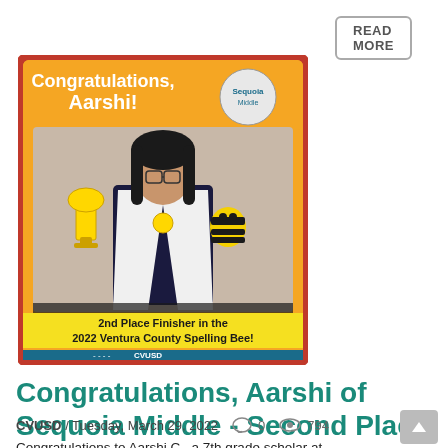READ MORE
[Figure (photo): Congratulations card for Aarshi showing a young girl holding a trophy and a bee plushie. Text reads: Congratulations, Aarshi! 2nd Place Finisher in the 2022 Ventura County Spelling Bee! CVUSD logo at bottom.]
Congratulations, Aarshi of Sequoia Middle - Second Place Finisher in the Ventura County Spelling Bee!
CVUSD / Tuesday, March 29, 2022   0   794
Congratulations to Aarshi C., a 7th grade scholar at